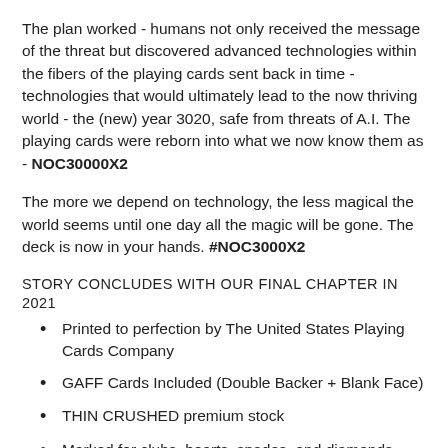The plan worked - humans not only received the message of the threat but discovered advanced technologies within the fibers of the playing cards sent back in time - technologies that would ultimately lead to the now thriving world - the (new) year 3020, safe from threats of A.I. The playing cards were reborn into what we now know them as - NOC30000X2
The more we depend on technology, the less magical the world seems until one day all the magic will be gone. The deck is now in your hands. #NOC3000X2
STORY CONCLUDES WITH OUR FINAL CHAPTER IN 2021
Printed to perfection by The United States Playing Cards Company
GAFF Cards Included (Double Backer + Blank Face)
THIN CRUSHED premium stock
Marked for clubs, hearts, spades, and diamonds.